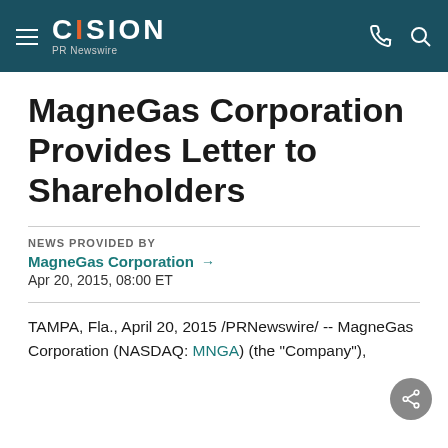CISION PR Newswire
MagneGas Corporation Provides Letter to Shareholders
NEWS PROVIDED BY
MagneGas Corporation →
Apr 20, 2015, 08:00 ET
TAMPA, Fla., April 20, 2015 /PRNewswire/ -- MagneGas Corporation (NASDAQ: MNGA) (the "Company"),